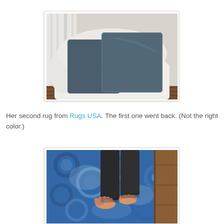[Figure (photo): Two blue/navy square throw pillows on a white round chair, with white curtains in the background and wooden floor visible at the bottom.]
Her second rug from Rugs USA. The first one went back. (Not the right color.)
[Figure (photo): Close-up of a blue patterned rug with a person standing on it barefoot, wearing dark pants, with hardwood floor visible at the edge.]